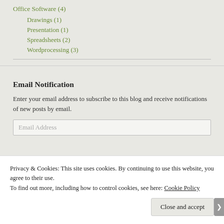Office Software (4)
Drawings (1)
Presentation (1)
Spreadsheets (2)
Wordprocessing (3)
Email Notification
Enter your email address to subscribe to this blog and receive notifications of new posts by email.
Email Address
Privacy & Cookies: This site uses cookies. By continuing to use this website, you agree to their use.
To find out more, including how to control cookies, see here: Cookie Policy
Close and accept